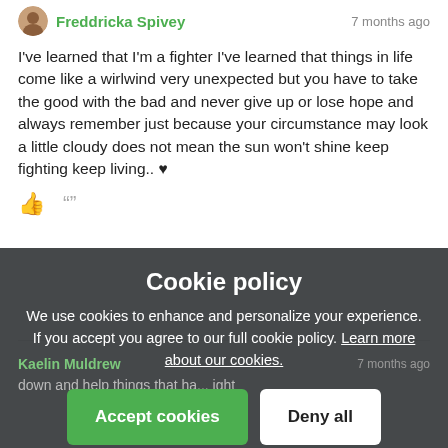Freddricka Spivey
7 months ago
I've learned that I'm a fighter I've learned that things in life come like a wirlwind very unexpected but you have to take the good with the bad and never give up or lose hope and always remember just because your circumstance may look a little cloudy does not mean the sun won't shine keep fighting keep living.. ♥
Cookie policy
We use cookies to enhance and personalize your experience. If you accept you agree to our full cookie policy. Learn more about our cookies.
Accept cookies
Deny all
Cookie settings
Kaelin Muldrew
7 months ago
down and help things that ha... ight